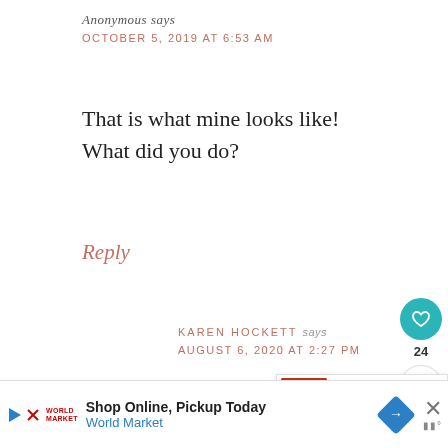Anonymous says
OCTOBER 5, 2019 AT 6:53 AM
That is what mine looks like! What did you do?
Reply
KAREN HOCKETT says
AUGUST 6, 2020 AT 2:27 PM
Mine did that also. I... good to eat if well shaken
[Figure (infographic): Like/heart button widget showing a teal circle with heart icon and count of 24, plus a share button below]
[Figure (infographic): What's Next banner showing a salsa jar image with text 'WHAT'S NEXT → Salsa Recipe for Canning']
[Figure (infographic): Advertisement banner: Shop Online, Pickup Today - World Market with diamond road sign icon]